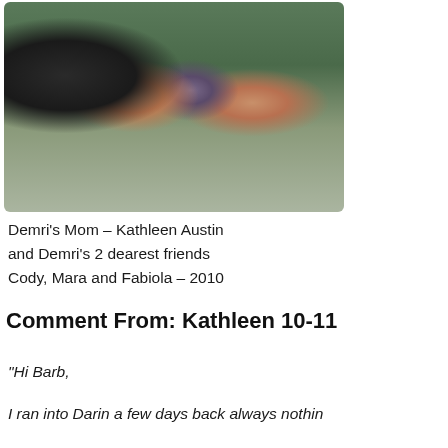[Figure (photo): Group photo of four people posing together outdoors with green trees in background. Three women and one man smiling closely together.]
Demri's Mom – Kathleen Austin and Demri's 2 dearest friends Cody, Mara and Fabiola – 2010
Comment From: Kathleen 10-11
“Hi Barb,
I ran into Darin a few days back always nothin